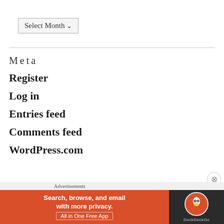[Figure (screenshot): Select Month dropdown button with gray border]
Meta
Register
Log in
Entries feed
Comments feed
WordPress.com
[Figure (screenshot): DuckDuckGo advertisement banner: orange section with text 'Search, browse, and email with more privacy. All in One Free App' and dark section with DuckDuckGo logo]